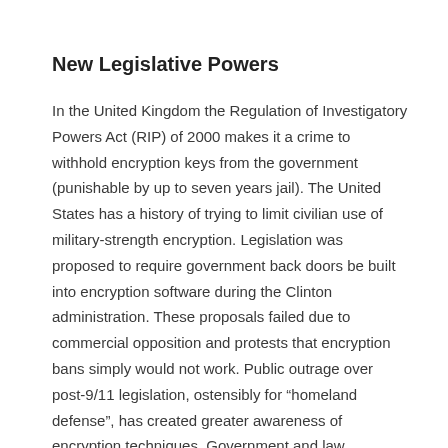New Legislative Powers
In the United Kingdom the Regulation of Investigatory Powers Act (RIP) of 2000 makes it a crime to withhold encryption keys from the government (punishable by up to seven years jail). The United States has a history of trying to limit civilian use of military-strength encryption. Legislation was proposed to require government back doors be built into encryption software during the Clinton administration. These proposals failed due to commercial opposition and protests that encryption bans simply would not work. Public outrage over post-9/11 legislation, ostensibly for “homeland defense”, has created greater awareness of encryption techniques. Government and law